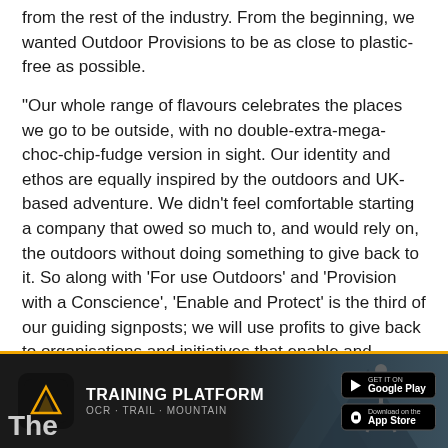from the rest of the industry. From the beginning, we wanted Outdoor Provisions to be as close to plastic-free as possible.
“Our whole range of flavours celebrates the places we go to be outside, with no double-extra-mega-choc-chip-fudge version in sight. Our identity and ethos are equally inspired by the outdoors and UK-based adventure. We didn’t feel comfortable starting a company that owed so much to, and would rely on, the outdoors without doing something to give back to it. So along with ‘For use Outdoors’ and ‘Provision with a Conscience’, ‘Enable and Protect’ is the third of our guiding signposts; we will use profits to give back to organisations and initiatives that enable and protect the outdoors.”
[Figure (infographic): Advertisement banner for Albom Training Platform. Dark background with yellow/gold top border. Albom logo (mountain icon in black square), text 'TRAINING PLATFORM / OCR · TRAIL · MOUNTAIN', background runner silhouette, Google Play and App Store download buttons. 'The' text visible at bottom left.]